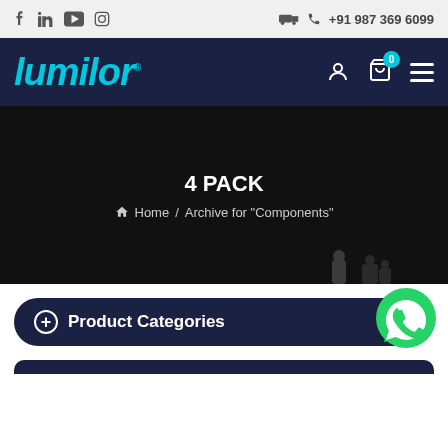Social icons: f in YouTube Instagram | +91 987 369 6099
[Figure (logo): Lumilor brand logo in cyan italic text on dark navy background]
4 PACK
Home / Archive for "Components"
+ Product Categories
[Figure (other): WhatsApp green chat icon button]